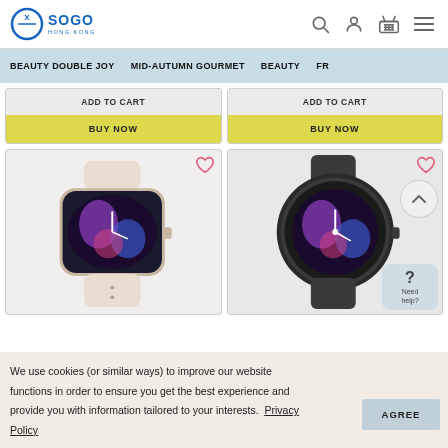[Figure (logo): SOGO Hong Kong logo with blue circle and X symbol]
[Figure (screenshot): Navigation icons: search, user account, shopping basket, hamburger menu]
BEAUTY DOUBLE JOY   MID-AUTUMN GOURMET   BEAUTY   FR...
ADD TO CART
ADD TO CART
BUY NOW
BUY NOW
[Figure (photo): Amazfit smartwatch with beige/cream band showing colorful galaxy clock face]
[Figure (photo): Amazfit round smartwatch with dark/black band showing colorful galaxy clock face, with scroll-up button overlay]
We use cookies (or similar ways) to improve our website functions in order to ensure you get the best experience and provide you with information tailored to your interests. Privacy Policy
AGREE